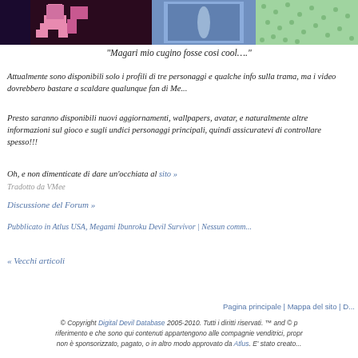[Figure (photo): Banner image with game characters: pink character cutout on dark background, blue door/frame, green textured pattern]
"Magari mio cugino fosse cosi cool…."
Attualmente sono disponibili solo i profili di tre personaggi e qualche informazione sulla trama, ma i video dovrebbero bastare a scaldare qualunque fan di Me...
Presto saranno disponibili nuovi aggiornamenti, wallpapers, avatar, e naturalmente altre informazioni sul gioco e sugli undici personaggi principali, quindi assicuratevi di controllare spesso!!!
Oh, e non dimenticate di dare un'occhiata al sito »
Tradotto da VMee
Discussione del Forum »
Pubblicato in Atlus USA, Megami Ibunroku Devil Survivor | Nessun commento
« Vecchi articoli
Pagina principale | Mappa del sito | D...
© Copyright Digital Devil Database 2005-2010. Tutti i diritti riservati. ™ and © p... riferimento e che sono qui contenuti appartengono alle compagnie venditrici, propr... non è sponsorizzato, pagato, o in altro modo approvato da Atlus. E' stato creato...